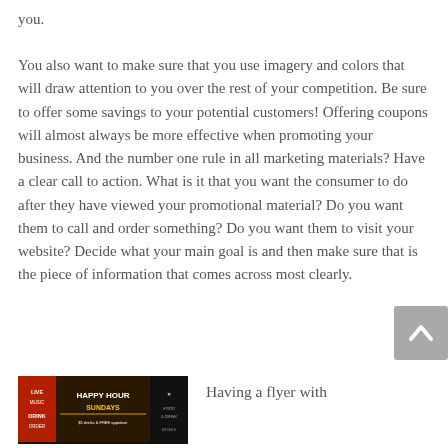you.
You also want to make sure that you use imagery and colors that will draw attention to you over the rest of your competition. Be sure to offer some savings to your potential customers! Offering coupons will almost always be more effective when promoting your business. And the number one rule in all marketing materials? Have a clear call to action. What is it that you want the consumer to do after they have viewed your promotional material? Do you want them to call and order something? Do you want them to visit your website? Decide what your main goal is and then make sure that is the piece of information that comes across most clearly.
[Figure (photo): A restaurant flyer showing 'Happy Hour Sundays' promotional material with food imagery and text on a dark background]
Having a flyer with